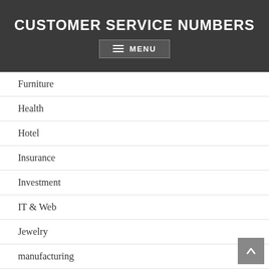CUSTOMER SERVICE NUMBERS
Furniture
Health
Hotel
Insurance
Investment
IT & Web
Jewelry
manufacturing
Manufacturing Companies
Marketing
Models